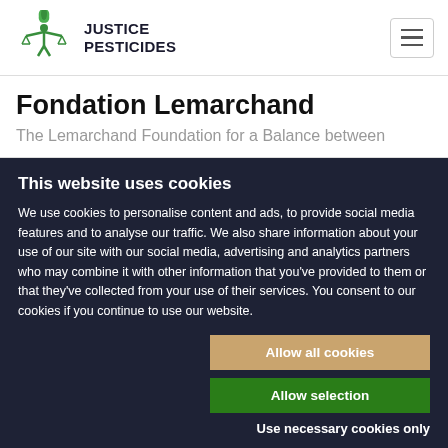JUSTICE PESTICIDES
Fondation Lemarchand
The Lemarchand Foundation for a Balance between
This website uses cookies
We use cookies to personalise content and ads, to provide social media features and to analyse our traffic. We also share information about your use of our site with our social media, advertising and analytics partners who may combine it with other information that you've provided to them or that they've collected from your use of their services. You consent to our cookies if you continue to use our website.
Allow all cookies
Allow selection
Use necessary cookies only
Necessary  Preferences  Statistics  Marketing  Settings